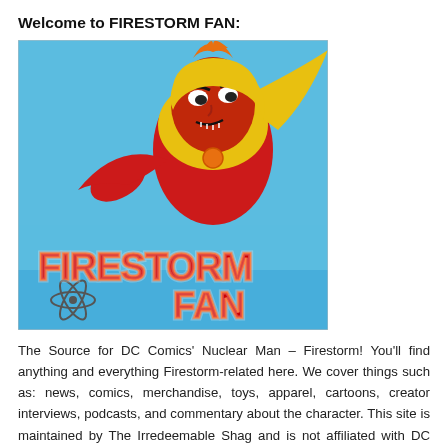Welcome to FIRESTORM FAN:
[Figure (illustration): Firestorm Fan logo image showing the comic book superhero Firestorm flying toward the viewer with an angry expression, wearing yellow and red costume with orange chest circle, against a bright blue background. The bottom half features stylized fire-lettered red text reading 'FIRESTORM FAN' with flame effects and a nuclear atom symbol.]
The Source for DC Comics' Nuclear Man – Firestorm! You'll find anything and everything Firestorm-related here. We cover things such as: news, comics, merchandise, toys, apparel, cartoons, creator interviews, podcasts, and commentary about the character. This site is maintained by The Irredeemable Shag and is not affiliated with DC Comics in any way.